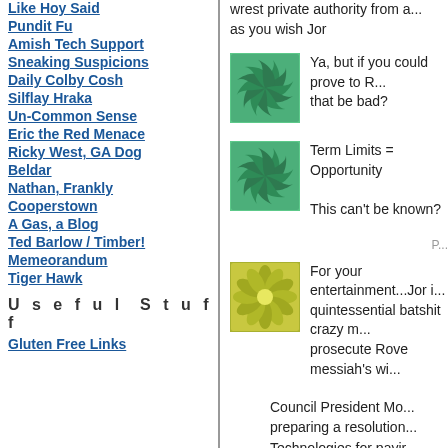Like Hoy Said
Pundit Fu
Amish Tech Support
Sneaking Suspicions
Daily Colby Cosh
Silflay Hraka
Un-Common Sense
Eric the Red Menace
Ricky West, GA Dog
Beldar
Nathan, Frankly
Cooperstown
A Gas, a Blog
Ted Barlow / Timber!
Memeorandum
Tiger Hawk
Useful Stuff
Gluten Free Links
wrest private authority from a... as you wish Jor
[Figure (illustration): Green spiral/pinwheel icon]
Ya, but if you could prove to R... that be bad?
[Figure (illustration): Green spiral/pinwheel icon]
Term Limits = Opportunity
This can't be known?
[Figure (illustration): Yellow-green flower/star burst icon]
For your entertainment...Jor i... quintessential batshit crazy m... prosecute Rove messiah's wi...
Council President Mo... preparing a resolution... Technologies for payir...
..."They don't have cle...